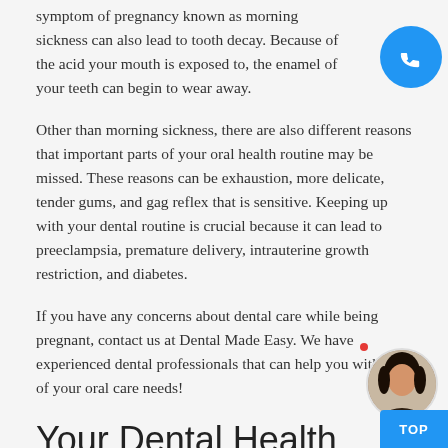symptom of pregnancy known as morning sickness can also lead to tooth decay. Because of the acid your mouth is exposed to, the enamel of your teeth can begin to wear away.
Other than morning sickness, there are also different reasons that important parts of your oral health routine may be missed. These reasons can be exhaustion, more delicate, tender gums, and gag reflex that is sensitive. Keeping up with your dental routine is crucial because it can lead to preeclampsia, premature delivery, intrauterine growth restriction, and diabetes.
If you have any concerns about dental care while being pregnant, contact us at Dental Made Easy. We have experienced dental professionals that can help you with all of your oral care needs!
Your Dental Health
When it comes to your health, trust in the dentists at Dental Made Easy. Dental Made Easy has the best dental practices in New York
[Figure (other): Blue circular phone call button in top right corner]
[Figure (photo): Circular avatar photo of a woman, positioned bottom right]